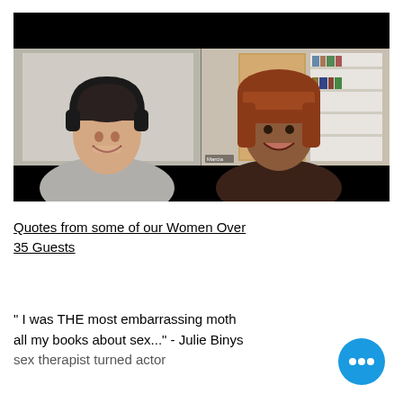[Figure (screenshot): Video call screenshot showing two people: on the left, a woman wearing large black headphones smiling in a light grey room; on the right, a woman with auburn hair with bangs in a room with bookshelves. A name tag reading 'Marcia' appears on the right panel. The video call interface has black letterbox bars at top and bottom.]
Quotes from some of our Women Over 35 Guests
" I was THE most embarrassing moth all my books about sex..." - Julie Binys sex therapist turned actor